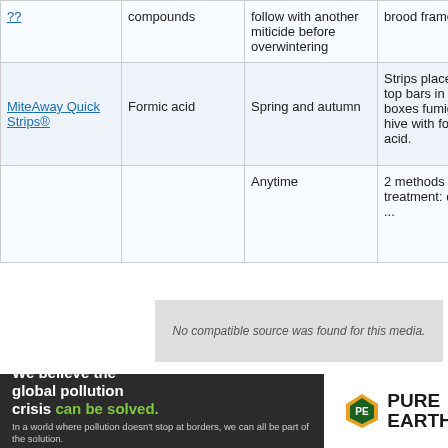| Product | Active Ingredient | When to Apply | How it Works |
| --- | --- | --- | --- |
|  | compounds | follow with another miticide before overwintering | brood frames |
| MiteAway Quick Strips® | Formic acid | Spring and autumn | Strips placed on top bars in brood boxes fumigate the hive with formic acid. |
|  |  | Anytime | 2 methods of treatment: dribble ... |
[Figure (other): Video player overlay: 'No compatible source was found for this media.' message on gray background]
We believe the global pollution crisis can be solved. In a world where pollution doesn't stop at borders, we can all be part of the solution. JOIN US. PURE EARTH